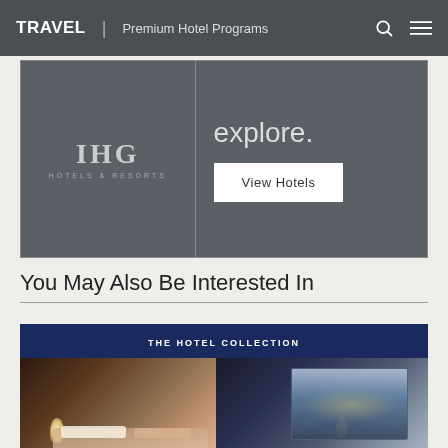TRAVEL | Premium Hotel Programs
[Figure (screenshot): IHG Hotels & Resorts banner with 'explore.' text and 'View Hotels' button on dark grey background]
You May Also Be Interested In
[Figure (screenshot): The Hotel Collection card with dark blue header and hotel room interior photograph]